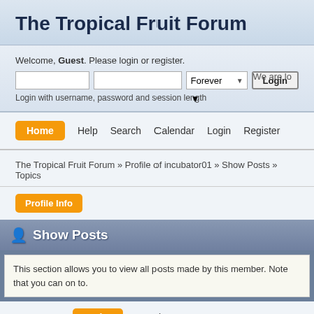The Tropical Fruit Forum
Welcome, Guest. Please login or register.
Login with username, password and session length
We are lo
Home
Help
Search
Calendar
Login
Register
The Tropical Fruit Forum » Profile of incubator01 » Show Posts » Topics
Profile Info
Show Posts
This section allows you to view all posts made by this member. Note that you can on to.
Messages   Topics   Attachments
Topics - incubator01